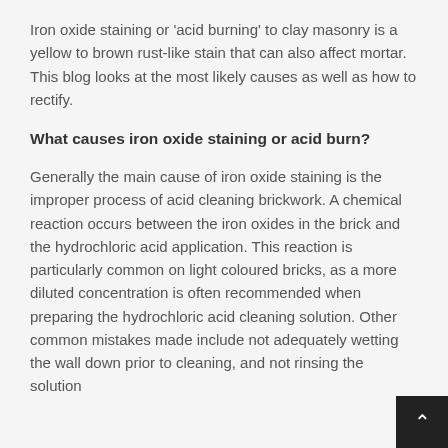Iron oxide staining or 'acid burning' to clay masonry is a yellow to brown rust-like stain that can also affect mortar. This blog looks at the most likely causes as well as how to rectify.
What causes iron oxide staining or acid burn?
Generally the main cause of iron oxide staining is the improper process of acid cleaning brickwork. A chemical reaction occurs between the iron oxides in the brick and the hydrochloric acid application. This reaction is particularly common on light coloured bricks, as a more diluted concentration is often recommended when preparing the hydrochloric acid cleaning solution. Other common mistakes made include not adequately wetting the wall down prior to cleaning, and not rinsing the solution